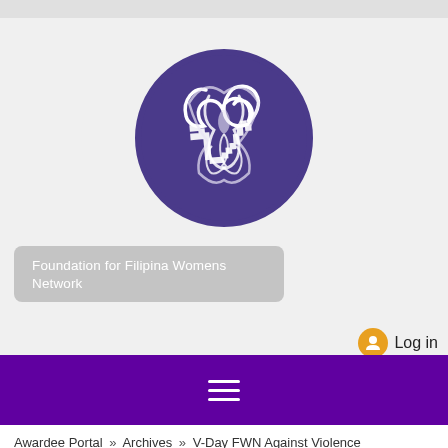[Figure (logo): Foundation for Filipina Womens Network circular logo with stylized FWN letters in dark purple/indigo on a light gray background]
Foundation for Filipina Womens Network
Log in
[Figure (other): Purple navigation bar with white hamburger menu icon (three horizontal lines)]
Awardee Portal » Archives » V-Day FWN Against Violence » What Is A Vagina Warrior? » 2012 Vagina Warriors